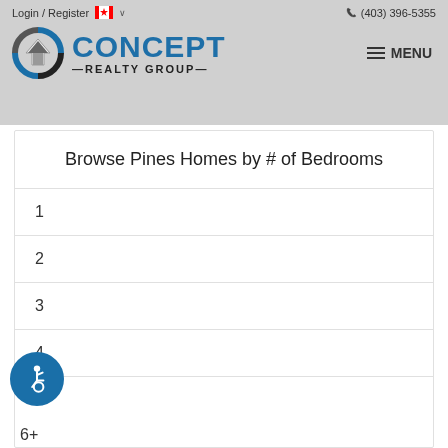Login / Register  (403) 396-5355 — Concept Realty Group — MENU
Browse Pines Homes by # of Bedrooms
1
2
3
4
5
6+